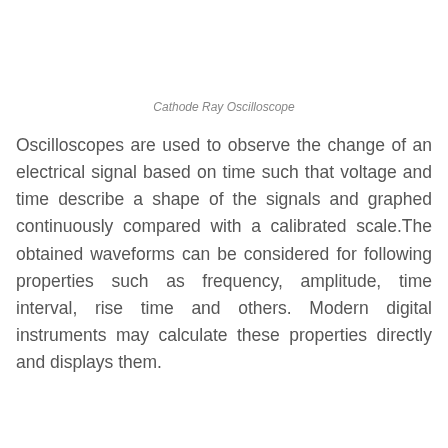Cathode Ray Oscilloscope
Oscilloscopes are used to observe the change of an electrical signal based on time such that voltage and time describe a shape of the signals and graphed continuously compared with a calibrated scale.The obtained waveforms can be considered for following properties such as frequency, amplitude, time interval, rise time and others. Modern digital instruments may calculate these properties directly and displays them.